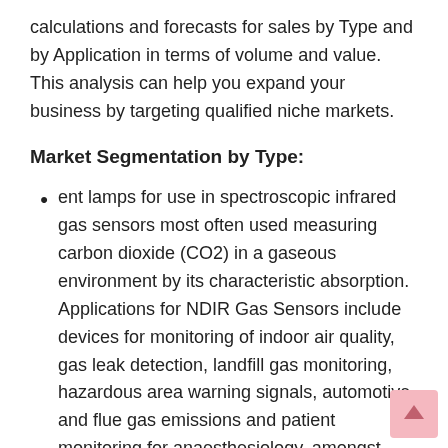calculations and forecasts for sales by Type and by Application in terms of volume and value. This analysis can help you expand your business by targeting qualified niche markets.
Market Segmentation by Type:
ent lamps for use in spectroscopic infrared gas sensors most often used measuring carbon dioxide (CO2) in a gaseous environment by its characteristic absorption. Applications for NDIR Gas Sensors include devices for monitoring of indoor air quality, gas leak detection, landfill gas monitoring, hazardous area warning signals, automotive and flue gas emissions and patient monitoring for anaesthesiology, amongst others.